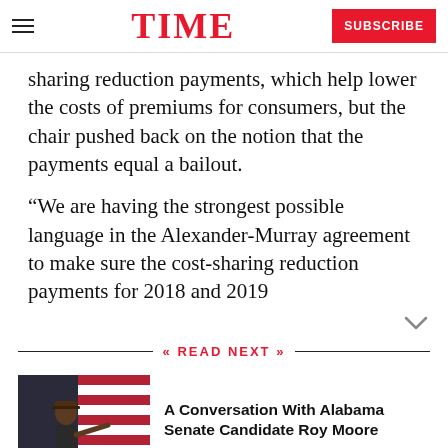TIME | SUBSCRIBE
sharing reduction payments, which help lower the costs of premiums for consumers, but the chair pushed back on the notion that the payments equal a bailout.
“We are having the strongest possible language in the Alexander-Murray agreement to make sure the cost-sharing reduction payments for 2018 and 2019
READ NEXT
[Figure (photo): Photo of Roy Moore at a rally, pointing, with an American flag in the background]
A Conversation With Alabama Senate Candidate Roy Moore